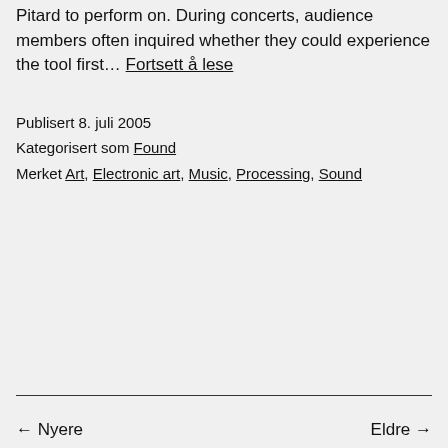Pitard to perform on. During concerts, audience members often inquired whether they could experience the tool first… Fortsett å lese
Publisert 8. juli 2005
Kategorisert som Found
Merket Art, Electronic art, Music, Processing, Sound
← Nyere   Eldre →